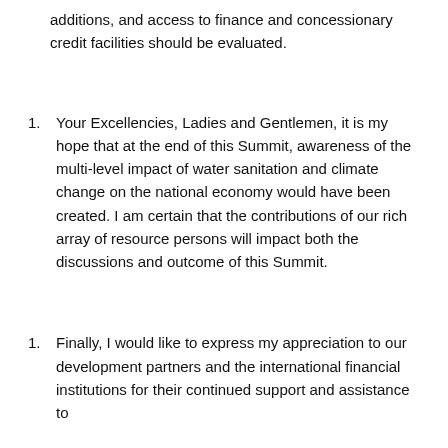additions, and access to finance and concessionary credit facilities should be evaluated.
Your Excellencies, Ladies and Gentlemen, it is my hope that at the end of this Summit, awareness of the multi-level impact of water sanitation and climate change on the national economy would have been created. I am certain that the contributions of our rich array of resource persons will impact both the discussions and outcome of this Summit.
Finally, I would like to express my appreciation to our development partners and the international financial institutions for their continued support and assistance to